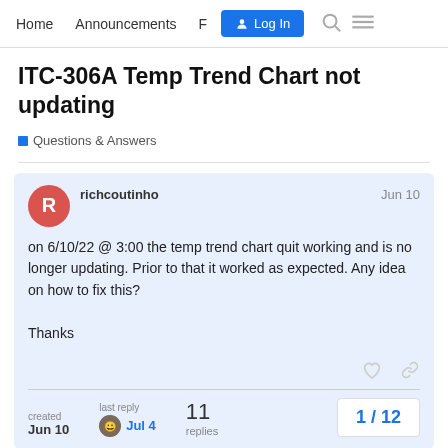Home  Announcements  F  Log In
ITC-306A Temp Trend Chart not updating
Questions & Answers
richcoutinho  Jun 10
on 6/10/22 @ 3:00 the temp trend chart quit working and is no longer updating. Prior to that it worked as expected. Any idea on how to fix this?

Thanks
created Jun 10  last reply Jul 4  11 replies  1 / 12